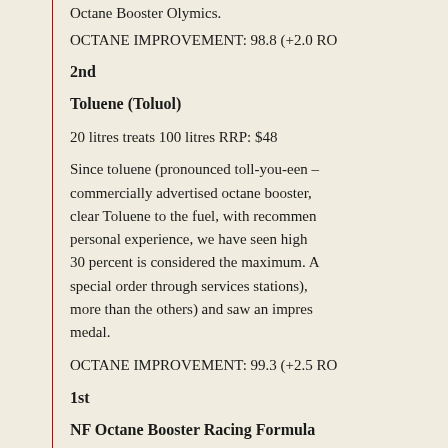Octane Booster Olymics.
OCTANE IMPROVEMENT: 98.8 (+2.0 RO...
2nd
Toluene (Toluol)
20 litres treats 100 litres RRP: $48
Since toluene (pronounced toll-you-een – commercially advertised octane booster, clear Toluene to the fuel, with recommen personal experience, we have seen high 30 percent is considered the maximum. A special order through services stations), more than the others) and saw an impres medal.
OCTANE IMPROVEMENT: 99.3 (+2.5 RO...
1st
NF Octane Booster Racing Formula
250 ml treats 80 litres RRP: $29.95
Time for an Aussie-made product. From N was the smallest bottle in the field, but lo relies on an incredibly small dose – a me much as 6.0 RON. NF took the gold med...